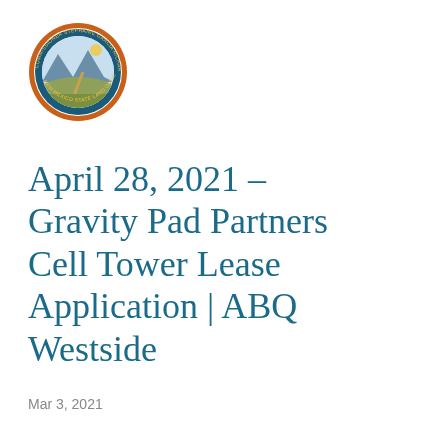[Figure (logo): New Mexico State Land Office seal/logo — circular seal with orange border ring, blue inner ring with text 'COMMISSIONER STEPHANIE GARCIA RICHARD' and 'NEW MEXICO STATE LAND OFFICE', landscape imagery in center]
April 28, 2021 – Gravity Pad Partners Cell Tower Lease Application | ABQ Westside
Mar 3, 2021